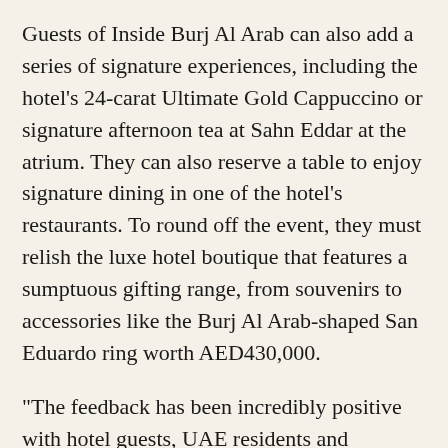Guests of Inside Burj Al Arab can also add a series of signature experiences, including the hotel’s 24-carat Ultimate Gold Cappuccino or signature afternoon tea at Sahn Eddar at the atrium. They can also reserve a table to enjoy signature dining in one of the hotel’s restaurants. To round off the event, they must relish the luxe hotel boutique that features a sumptuous gifting range, from souvenirs to accessories like the Burj Al Arab-shaped San Eduardo ring worth AED430,000.
“The feedback has been incredibly positive with hotel guests, UAE residents and international travelers,” shares Nicholson. “In fact, some of the first people we had through the tour had postponed their flights to fit the experience into their schedule. It was also touching to see